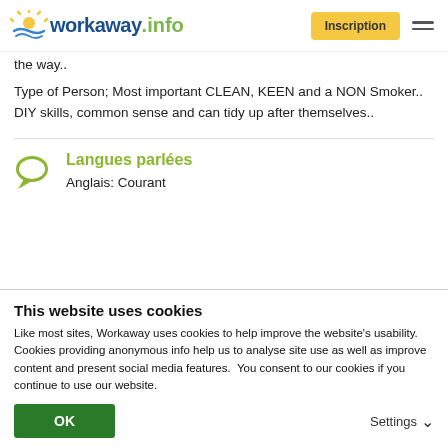workaway.info | Inscription
the way..
Type of Person; Most important CLEAN, KEEN and a NON Smoker..
DIY skills, common sense and can tidy up after themselves..
Langues parlées
Anglais: Courant
This website uses cookies
Like most sites, Workaway uses cookies to help improve the website's usability. Cookies providing anonymous info help us to analyse site use as well as improve content and present social media features.  You consent to our cookies if you continue to use our website.
OK   Settings